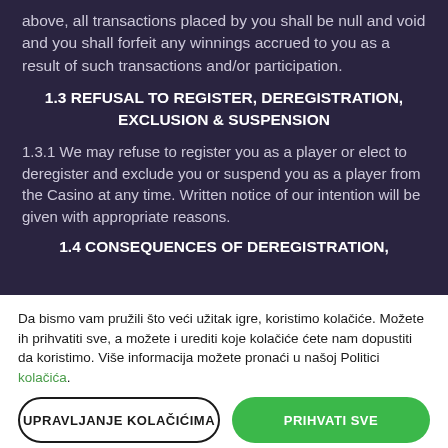above, all transactions placed by you shall be null and void and you shall forfeit any winnings accrued to you as a result of such transactions and/or participation.
1.3 REFUSAL TO REGISTER, DEREGISTRATION, EXCLUSION & SUSPENSION
1.3.1 We may refuse to register you as a player or elect to deregister and exclude you or suspend you as a player from the Casino at any time. Written notice of our intention will be given with appropriate reasons.
1.4 CONSEQUENCES OF DEREGISTRATION,
Da bismo vam pružili što veći užitak igre, koristimo kolačiće. Možete ih prihvatiti sve, a možete i urediti koje kolačiće ćete nam dopustiti da koristimo. Više informacija možete pronaći u našoj Politici kolačića.
UPRAVLJANJE KOLAČIĆIMA
PRIHVATI SVE